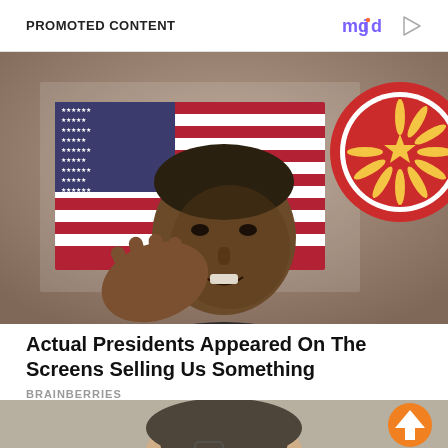PROMOTED CONTENT
[Figure (photo): Photo of Barack Obama speaking, gesturing with hand, American flag and ASEAN emblem visible in background]
Actual Presidents Appeared On The Screens Selling Us Something
BRAINBERRIES
[Figure (photo): Partial photo of a woman with dark hair, with orange circular up-arrow button overlay]